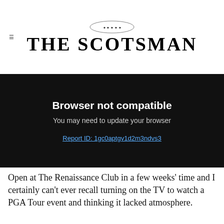THE SCOTSMAN
Browser not compatible
You may need to update your browser
Report ID: 1gc0aptgv1d2m3ndvs3
Open at The Renaissance Club in a few weeks’ time and I certainly can’t ever recall turning on the TV to watch a PGA Tour event and thinking it lacked atmosphere.
[Figure (photo): Photo showing a large sign reading 'GOLF, BUT LOUDER' on a dark building exterior with people standing in front]